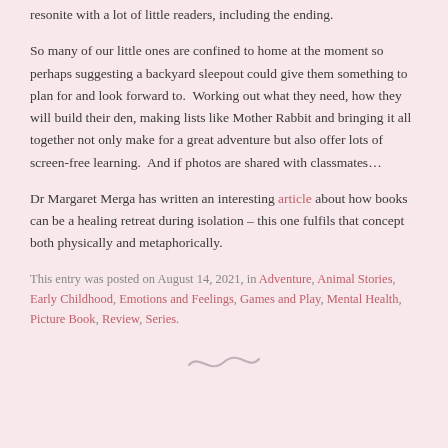resonite with a lot of little readers, including the ending.
So many of our little ones are confined to home at the moment so perhaps suggesting a backyard sleepout could give them something to plan for and look forward to.  Working out what they need, how they will build their den, making lists like Mother Rabbit and bringing it all together not only make for a great adventure but also offer lots of screen-free learning.  And if photos are shared with classmates…
Dr Margaret Merga has written an interesting article about how books can be a healing retreat during isolation – this one fulfils that concept both physically and metaphorically.
This entry was posted on August 14, 2021, in Adventure, Animal Stories, Early Childhood, Emotions and Feelings, Games and Play, Mental Health, Picture Book, Review, Series.
[Figure (illustration): Decorative tilde/swirl divider symbol]